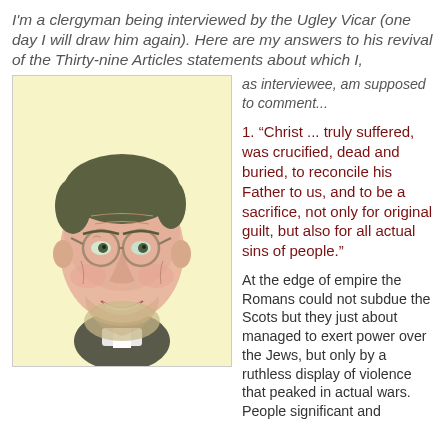I'm a clergyman being interviewed by the Ugley Vicar (one day I will draw him again). Here are my answers to his revival of the Thirty-nine Articles statements about which I, as interviewee, am supposed to comment...
[Figure (illustration): A hand-drawn illustration/portrait of a middle-aged clergyman with glasses, graying hair, and a clerical collar, on a pale yellow background.]
1. “Christ ... truly suffered, was crucified, dead and buried, to reconcile his Father to us, and to be a sacrifice, not only for original guilt, but also for all actual sins of people.”
At the edge of empire the Romans could not subdue the Scots but they just about managed to exert power over the Jews, but only by a ruthless display of violence that peaked in actual wars. People significant and